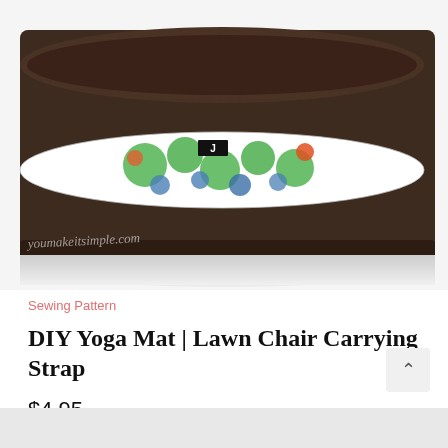[Figure (photo): A rolled-up dark brown yoga mat secured with a colorful green, blue, orange fabric strap with polka dot pattern. White background. Watermark text reads 'youmakeitsimple.com'.]
Sewing Pattern
DIY Yoga Mat | Lawn Chair Carrying Strap
$4.95